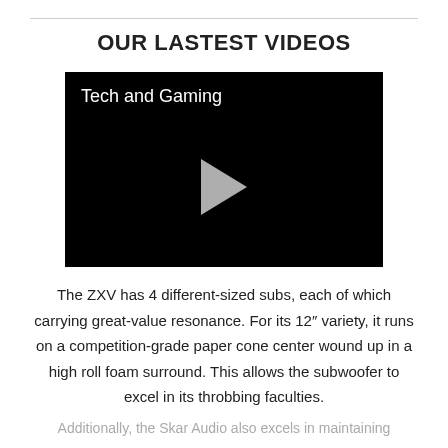OUR LASTEST VIDEOS
[Figure (screenshot): Video player thumbnail with black background showing title 'Tech and Gaming' and a play button (triangle) in the center.]
The ZXV has 4 different-sized subs, each of which carrying great-value resonance. For its 12″ variety, it runs on a competition-grade paper cone center wound up in a high roll foam surround. This allows the subwoofer to excel in its throbbing faculties.
Additionally, the Skar Audio also excels in maintaining